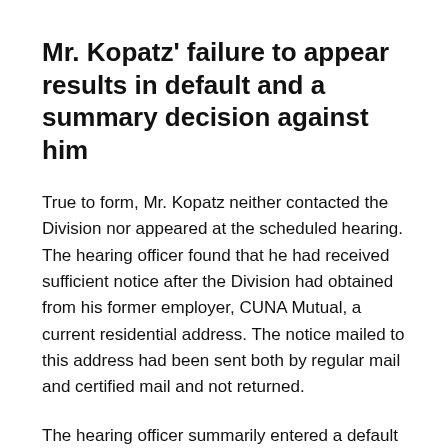Mr. Kopatz' failure to appear results in default and a summary decision against him
True to form, Mr. Kopatz neither contacted the Division nor appeared at the scheduled hearing. The hearing officer found that he had received sufficient notice after the Division had obtained from his former employer, CUNA Mutual, a current residential address. The notice mailed to this address had been sent both by regular mail and certified mail and not returned.
The hearing officer summarily entered a default and proceeded to enter judgment stating:
I find that [Mr.] Kopatz' failure to answer the